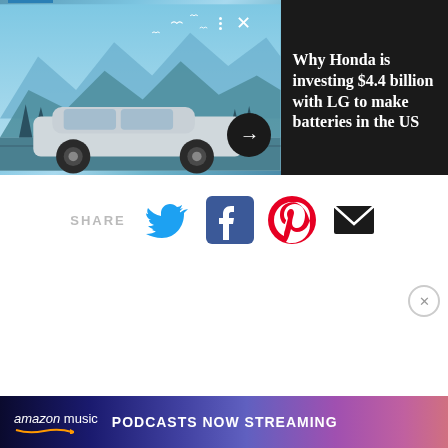[Figure (screenshot): Pop Science article banner showing a silver Honda EV SUV driving through a stylized mountain landscape with birds. Includes POP SCI logo, navigation dots and X icon, and arrow button.]
Why Honda is investing $4.4 billion with LG to make batteries in the US
[Figure (infographic): SHARE section with Twitter (blue bird), Facebook (blue f), Pinterest (red P), and email (black envelope) social sharing icons]
[Figure (infographic): Advertisement banner with light blue to purple gradient background. Text reads: 10% OFF PLUS FREE GROUND SHIPPING / POPULAR SCIENCE with magazine imagery.]
[Figure (infographic): Amazon Music bottom banner ad with dark blue to purple gradient. Text reads: amazon music PODCASTS NOW STREAMING]